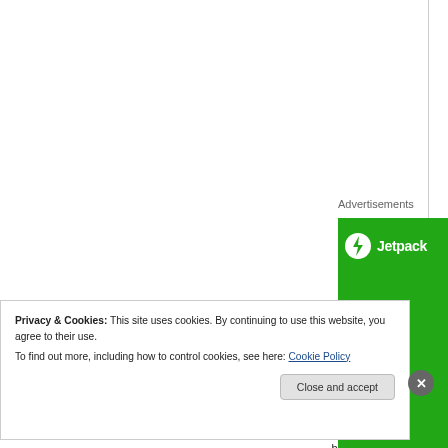Advertisements
[Figure (screenshot): Jetpack advertisement banner with green background showing Jetpack logo and text 'We guar...' (We guarantee)]
By happenstance or design, the [M] chief Hafiz Saeed just when the [P] process of making a case for revi m b
Privacy & Cookies: This site uses cookies. By continuing to use this website, you agree to their use.
To find out more, including how to control cookies, see here: Cookie Policy
Close and accept